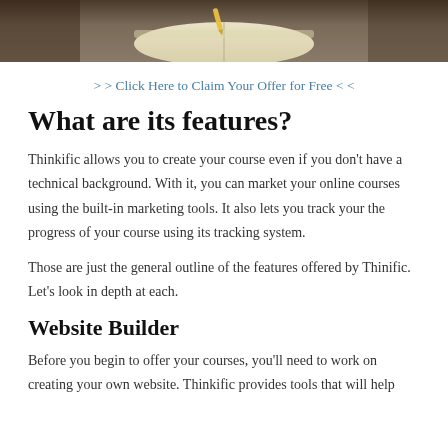[Figure (photo): Photo of an open book on a wooden surface, view from above, warm tones]
> > Click Here to Claim Your Offer for Free < <
What are its features?
Thinkific allows you to create your course even if you don't have a technical background. With it, you can market your online courses using the built-in marketing tools. It also lets you track your the progress of your course using its tracking system.
Those are just the general outline of the features offered by Thinific. Let's look in depth at each.
Website Builder
Before you begin to offer your courses, you'll need to work on creating your own website. Thinkific provides tools that will help